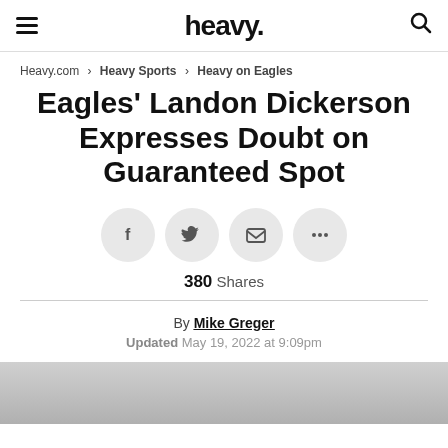heavy.
Heavy.com › Heavy Sports › Heavy on Eagles
Eagles' Landon Dickerson Expresses Doubt on Guaranteed Spot
[Figure (infographic): Four circular social share buttons: Facebook (f), Twitter (bird), Email (envelope), More (ellipsis)]
380 Shares
By Mike Greger
Updated May 19, 2022 at 9:09pm
[Figure (photo): Partial photo at the bottom of the page, cropped]